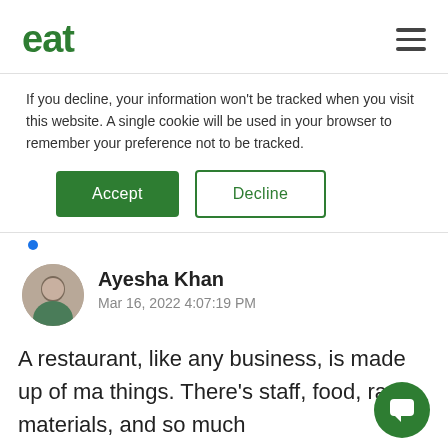eat
If you decline, your information won't be tracked when you visit this website. A single cookie will be used in your browser to remember your preference not to be tracked.
Accept | Decline
Ayesha Khan
Mar 16, 2022 4:07:19 PM
A restaurant, like any business, is made up of ma things. There's staff, food, raw materials, and so much